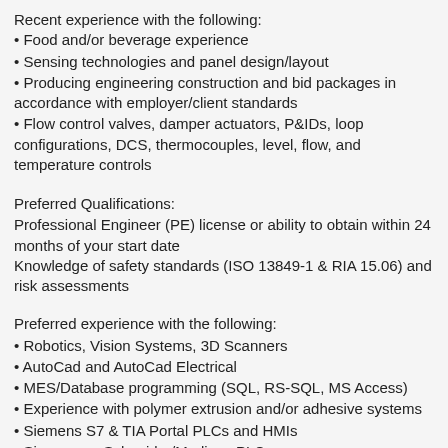Recent experience with the following:
• Food and/or beverage experience
• Sensing technologies and panel design/layout
• Producing engineering construction and bid packages in accordance with employer/client standards
• Flow control valves, damper actuators, P&IDs, loop configurations, DCS, thermocouples, level, flow, and temperature controls
Preferred Qualifications:
Professional Engineer (PE) license or ability to obtain within 24 months of your start date
Knowledge of safety standards (ISO 13849-1 & RIA 15.06) and risk assessments
Preferred experience with the following:
• Robotics, Vision Systems, 3D Scanners
• AutoCad and AutoCad Electrical
• MES/Database programming (SQL, RS-SQL, MS Access)
• Experience with polymer extrusion and/or adhesive systems
• Siemens S7 & TIA Portal PLCs and HMIs
• Siemens or Schneider/Modicon PLCs
• Siemens, CH or Schneider HMIs
• Visual Basic, Visual Basic.NET, Visual C, C#,